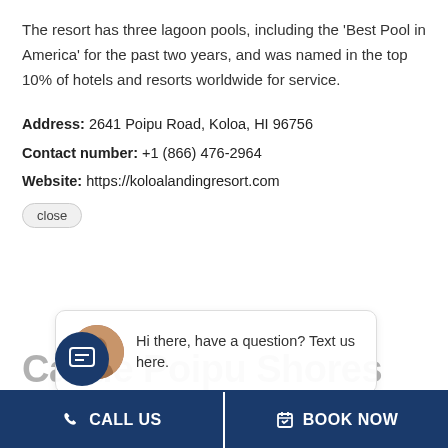The resort has three lagoon pools, including the 'Best Pool in America' for the past two years, and was named in the top 10% of hotels and resorts worldwide for service.
Address: 2641 Poipu Road, Koloa, HI 96756
Contact number: +1 (866) 476-2964
Website: https://koloalandingresort.com
[Figure (screenshot): A chat popup overlay showing an avatar of a woman and the text 'Hi there, have a question? Text us here.' with a close button above it.]
Castle Poipu Shores Hotel
Poipu Shores, where ancient Hawaiian petroglyphs, gorgeous coastal paths, untamed jungles, and towering
[Figure (screenshot): Footer bar with two buttons: 'CALL US' on the left with a phone icon, and 'BOOK NOW' on the right with a calendar icon. Both on dark navy blue background.]